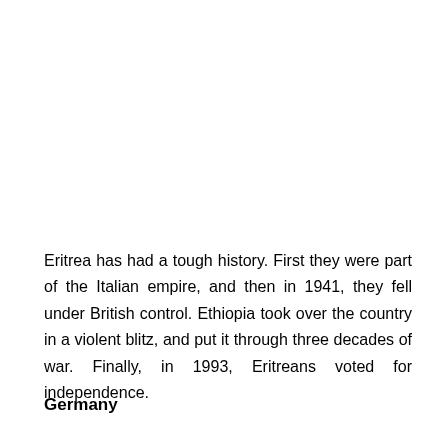Eritrea has had a tough history. First they were part of the Italian empire, and then in 1941, they fell under British control. Ethiopia took over the country in a violent blitz, and put it through three decades of war. Finally, in 1993, Eritreans voted for independence.
Germany